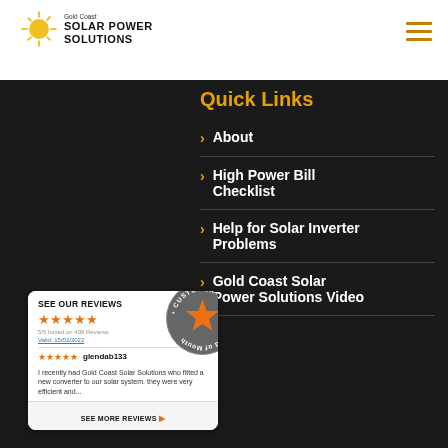[Figure (logo): Gold Coast Solar Power Solutions logo with sun graphic]
[Figure (other): Hamburger menu icon (three horizontal lines) in orange/gold]
Quick Links
About
High Power Bill Checklist
Help for Solar Inverter Problems
Gold Coast Solar Power Solutions Video
[Figure (other): Customer review widget showing 5/5 stars based on 408 reviews, Word of Mouth customer approved badge, reviewer glendab133 with 5 stars, review text about Gold Coast Solar Solutions fitting a new converter]
SEE OUR REVIEWS
5/5 based on 408 Reviews
Valid: 15/02/2022
glendab133
I recently had Gold Coast Solar Solutions who fitted a new converter to our solar system. they were very efficient and...
SEE MORE REVIEWS